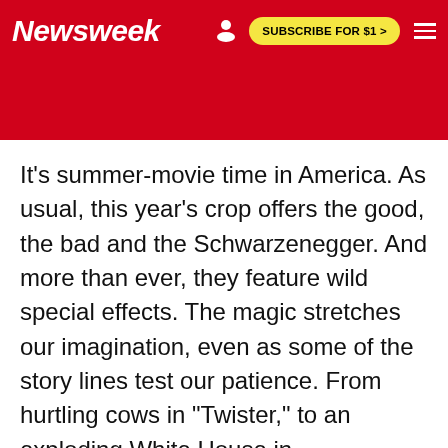Newsweek | SUBSCRIBE FOR $1 >
It's summer-movie time in America. As usual, this year's crop offers the good, the bad and the Schwarzenegger. And more than ever, they feature wild special effects. The magic stretches our imagination, even as some of the story lines test our patience. From hurtling cows in "Twister," to an exploding White House in "Independence Day," to a beast with the voice and brow of Sean Connery in